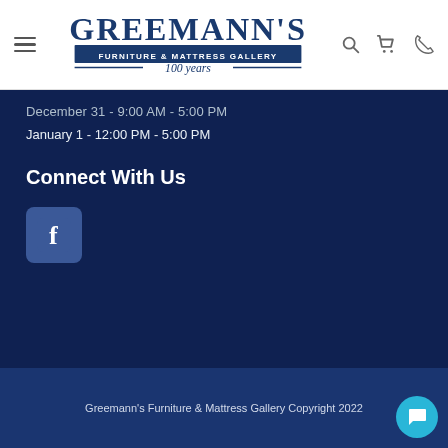Greemann's Furniture & Mattress Gallery — navigation header with logo, search, cart, phone icons
December 31 - 9:00 AM - 5:00 PM
January 1 - 12:00 PM - 5:00 PM
Connect With Us
[Figure (logo): Facebook logo icon — blue rounded square with white 'f']
Greemann's Furniture & Mattress Gallery Copyright 2022